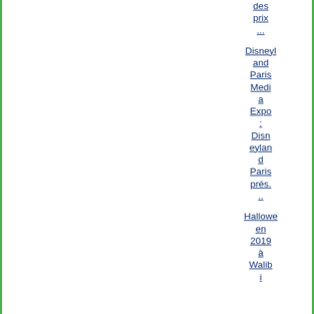des prix ...
Disneyland Paris Media Expo : Disneyland Paris prés. ..
Halloween 2019 à Walib i